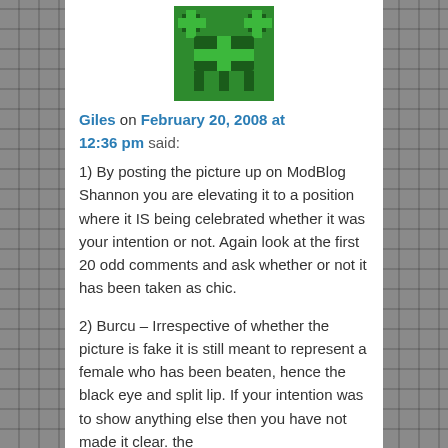[Figure (illustration): Green pixel-art avatar icon with a cross/plus symbol motif on a green background]
Giles on February 20, 2008 at 12:36 pm said:
1) By posting the picture up on ModBlog Shannon you are elevating it to a position where it IS being celebrated whether it was your intention or not. Again look at the first 20 odd comments and ask whether or not it has been taken as chic.
2) Burcu – Irrespective of whether the picture is fake it is still meant to represent a female who has been beaten, hence the black eye and split lip. If your intention was to show anything else then you have not made it clear. the